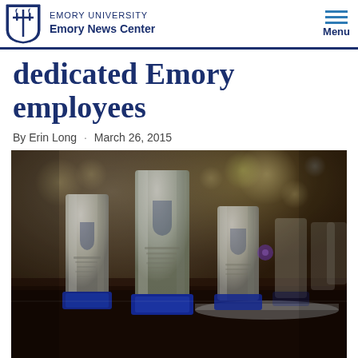EMORY UNIVERSITY  Emory News Center
dedicated Emory employees
By Erin Long · March 26, 2015
[Figure (photo): Crystal award trophies with blue bases displayed on a dark tablecloth, with Emory University shields engraved on them, arranged in a row at an awards ceremony.]